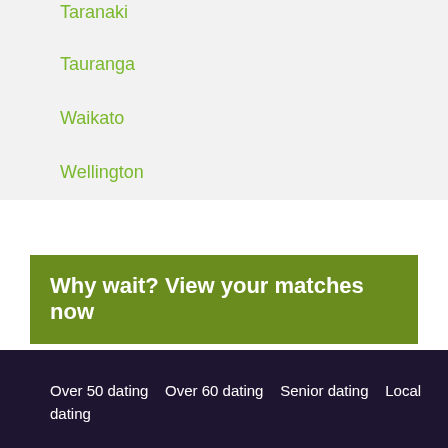Taranaki
Tauranga
Waikato
Wellington
Why wait? View your matches now
Over 50 dating   Over 60 dating   Senior dating   Local dating